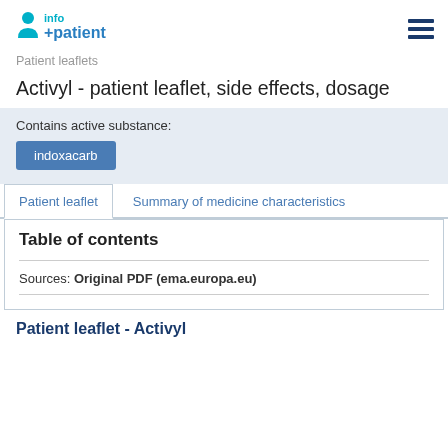info+patient
Patient leaflets
Activyl - patient leaflet, side effects, dosage
Contains active substance: indoxacarb
Patient leaflet | Summary of medicine characteristics
Table of contents
Sources: Original PDF (ema.europa.eu)
Patient leaflet - Activyl